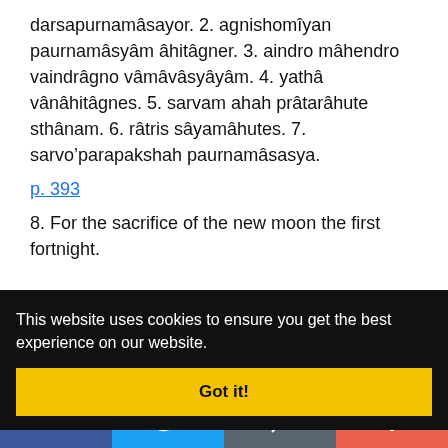darsapurnamasayor. 2. agnishomiyan paurnamâsyâm âhitâgner. 3. aindro mâhendro vaindrâgno vâmâvâsyâyâm. 4. yathâ vânâhitâgnes. 5. sarvam ahah prâtarâhute sthânam. 6. râtris sâyamâhutes. 7. sarvo'parapakshah paurnamâsasya.
p. 393
8. For the sacrifice of the new moon the first fortnight.
[Figure (screenshot): Cookie consent banner with black background, white text reading 'This website uses cookies to ensure you get the best experience on our website.' and a yellow 'Got it!' button.]
[Figure (infographic): Social sharing bar at bottom with Facebook (blue), Twitter (light blue), Email (grey), and plus/more (red-orange) buttons.]